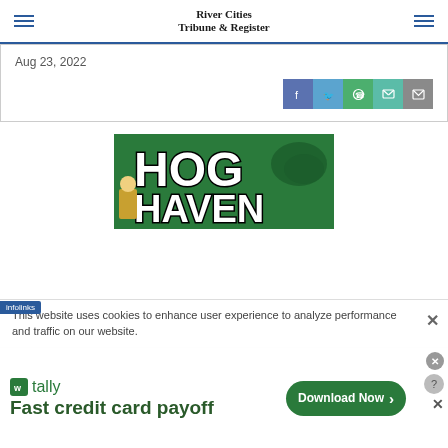River Cities Tribune & Register
Aug 23, 2022
[Figure (logo): Hog Haven logo on green background with large bold text HOG HAVEN and a boar/razorback mascot image]
This website uses cookies to enhance user experience to analyze performance and traffic on our website.
[Figure (infographic): Tally advertisement banner: 'Fast credit card payoff' with Download Now button and infolinks badge]